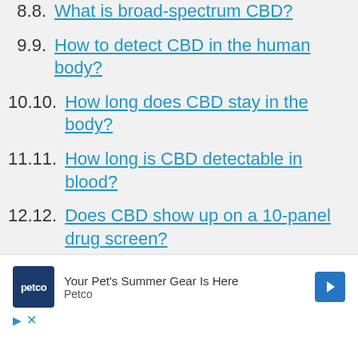8. What is broad-spectrum CBD?
9. How to detect CBD in the human body?
10. How long does CBD stay in the body?
11. How long is CBD detectable in blood?
12. Does CBD show up on a 10-panel drug screen?
13. Can CBD trigger a false positive drug test?
[Figure (infographic): Petco advertisement banner: Petco logo on dark blue background, text 'Your Pet's Summer Gear Is Here' with Petco branding and a blue diamond arrow icon. Play and close icons at bottom.]